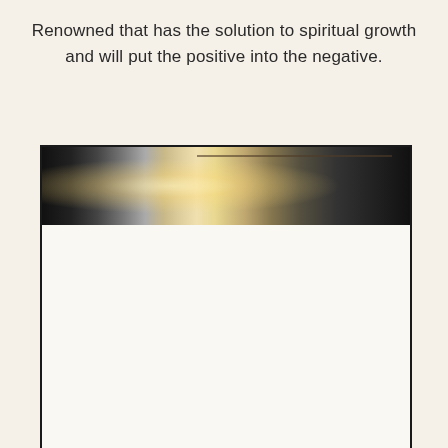Renowned that has the solution to spiritual growth and will put the positive into the negative.
[Figure (photo): A photo showing a crystal chandelier or decorative light fixture with sparkling elements against a dark background. The lower portion of the image frame is blank/white.]